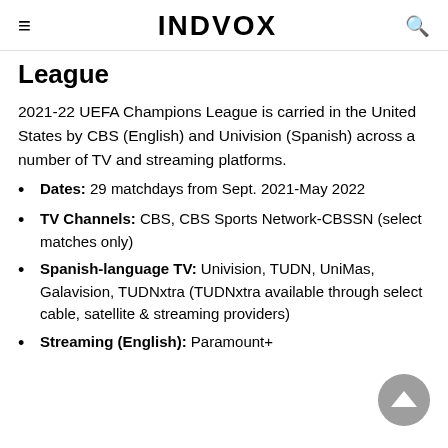INDVOX
League
2021-22 UEFA Champions League is carried in the United States by CBS (English) and Univision (Spanish) across a number of TV and streaming platforms.
Dates: 29 matchdays from Sept. 2021-May 2022
TV Channels: CBS, CBS Sports Network-CBSSN (select matches only)
Spanish-language TV: Univision, TUDN, UniMas, Galavision, TUDNxtra (TUDNxtra available through select cable, satellite & streaming providers)
Streaming (English): Paramount+